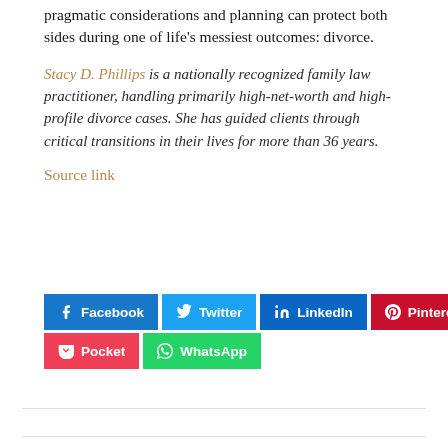pragmatic considerations and planning can protect both sides during one of life's messiest outcomes: divorce.
Stacy D. Phillips is a nationally recognized family law practitioner, handling primarily high-net-worth and high-profile divorce cases. She has guided clients through critical transitions in their lives for more than 36 years.
Source link
[Figure (infographic): Social media share buttons: Facebook (blue), Twitter (light blue), LinkedIn (dark blue), Pinterest (red), Pocket (red), WhatsApp (green)]